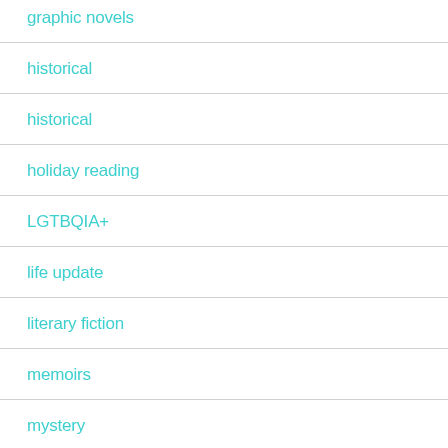graphic novels
historical
historical
holiday reading
LGTBQIA+
life update
literary fiction
memoirs
mystery